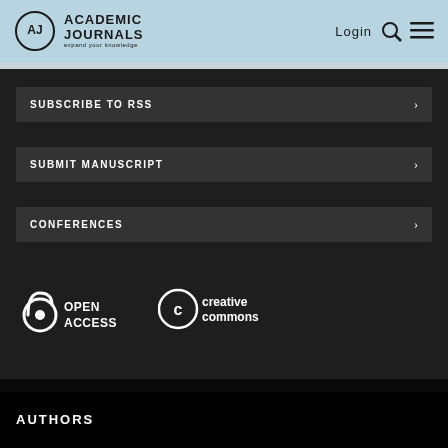[Figure (logo): Academic Journals logo with AJ circle and 'expand your knowledge' tagline, plus Login, search icon, and hamburger menu in header]
SUBSCRIBE TO RSS
SUBMIT MANUSCRIPT
CONFERENCES
[Figure (logo): Open Access logo in white with lock icon]
[Figure (logo): Creative Commons logo in white]
AUTHORS